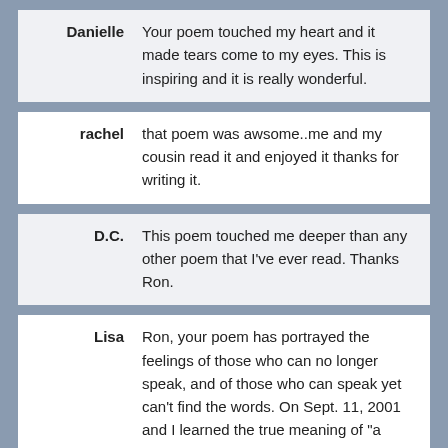Danielle: Your poem touched my heart and it made tears come to my eyes. This is inspiring and it is really wonderful.
rachel: that poem was awsome..me and my cousin read it and enjoyed it thanks for writing it.
D.C.: This poem touched me deeper than any other poem that I've ever read. Thanks Ron.
Lisa: Ron, your poem has portrayed the feelings of those who can no longer speak, and of those who can speak yet can't find the words. On Sept. 11, 2001 and I learned the true meaning of "a heavy heart". My heart felt so heavy I could barely stand up. The ache will never go